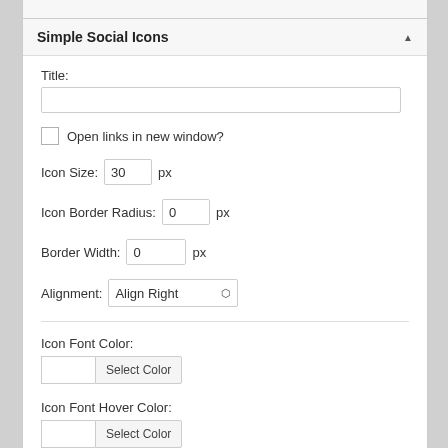Simple Social Icons
Title:
[Figure (screenshot): Empty text input field for Title]
Open links in new window?
Icon Size: 30 px
Icon Border Radius: 0 px
Border Width: 0 px
Alignment: Align Right
Icon Font Color:
Select Color
Icon Font Hover Color:
Select Color
Background Color:
Select Color